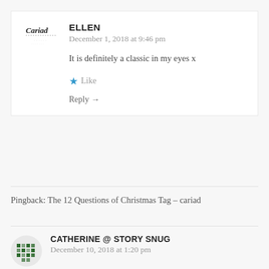[Figure (logo): Cariad blog logo - small text logo with dotted underline]
ELLEN
December 1, 2018 at 9:46 pm
It is definitely a classic in my eyes x
★ Like
Reply →
Pingback: The 12 Questions of Christmas Tag – cariad
[Figure (logo): Catherine @ Story Snug avatar - green pixelated/mosaic icon]
CATHERINE @ STORY SNUG
December 10, 2018 at 1:20 pm